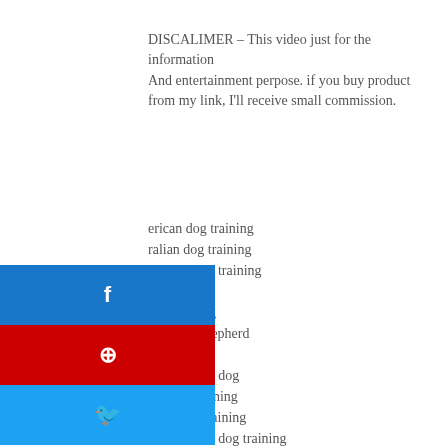DISCALIMER – This video just for the information
And entertainment perpose. if you buy product from my link, I'll receive small commission.
erican dog training
ralian dog training
Canada dog training
andcat
dog training
German Shepherd
Lebra dog
Pomeranian dog
bulldog training
Labrador training
Pomeranian dog training